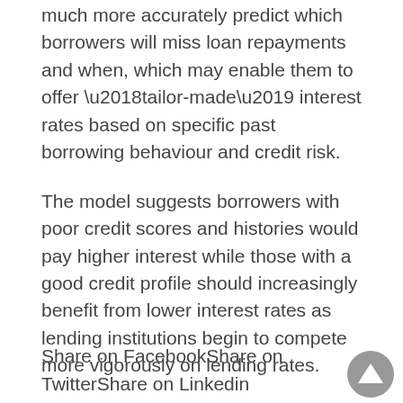Banks using the new system should be able to much more accurately predict which borrowers will miss loan repayments and when, which may enable them to offer ‘tailor-made’ interest rates based on specific past borrowing behaviour and credit risk.
The model suggests borrowers with poor credit scores and histories would pay higher interest while those with a good credit profile should increasingly benefit from lower interest rates as lending institutions begin to compete more vigorously on lending rates.
Share on FacebookShare on TwitterShare on Linkedin